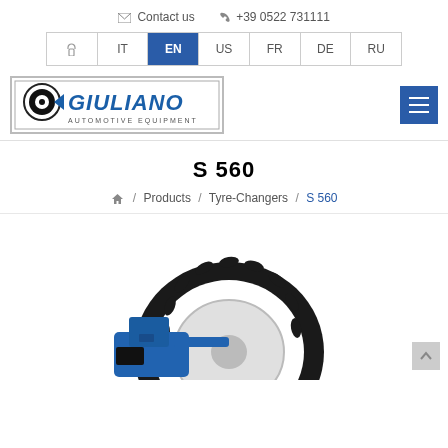Contact us  +39 0522 731111
IT / EN / US / FR / DE / RU
[Figure (logo): Giuliano Automotive Equipment logo — blue and white logo with eye/arrow motif and GIULIANO text in blue italic letters]
S 560
Home / Products / Tyre-Changers / S 560
[Figure (photo): Giuliano S 560 tyre changer machine shown with a large agricultural tractor tyre mounted on a white rim; machine is blue]